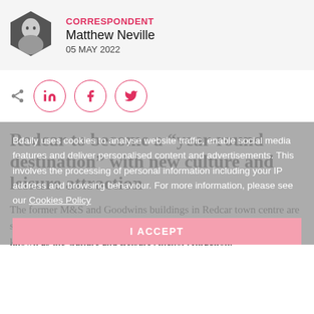CORRESPONDENT
Matthew Neville
05 MAY 2022
[Figure (illustration): Hexagonal black and white headshot avatar of Matthew Neville, social media share icons for LinkedIn, Facebook, Twitter]
Redcar to become a “year-round destination” with new culture and leisure attraction
The former M&S and Goodwins buildings in Redcar town centre are set to become the location of a brand-new family attraction, to be known as the Culture and Leisure Anchor Attraction.
Bdaily uses cookies to analyse website traffic, enable social media features and deliver personalised content and advertisements. This involves the processing of personal information including your IP address and browsing behaviour. For more information, please see our Cookies Policy
I ACCEPT
The project forms part of the Redcar Town Deal, a suite of